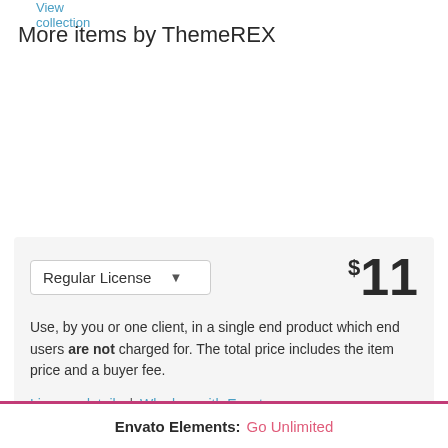View collection
More items by ThemeREX
View author portfolio
Regular License  $11
Use, by you or one client, in a single end product which end users are not charged for. The total price includes the item price and a buyer fee.
License details | Why buy with Envato
Envato Elements: Go Unlimited